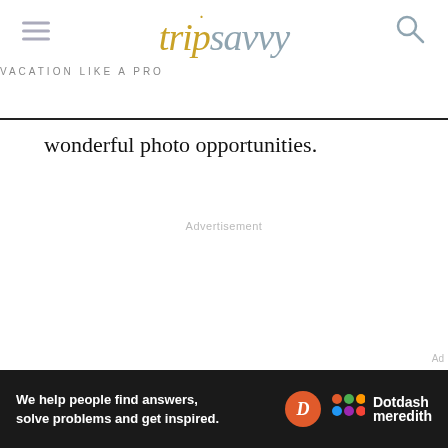tripsavvy VACATION LIKE A PRO
wonderful photo opportunities.
Advertisement
Ad
[Figure (other): Dotdash Meredith advertisement banner: 'We help people find answers, solve problems and get inspired.' with Dotdash Meredith logo]